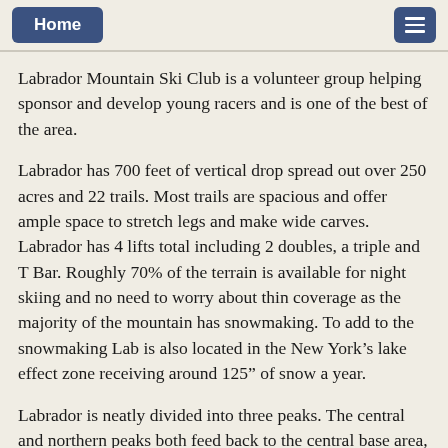Home
Labrador Mountain Ski Club is a volunteer group helping sponsor and develop young racers and is one of the best of the area.
Labrador has 700 feet of vertical drop spread out over 250 acres and 22 trails. Most trails are spacious and offer ample space to stretch legs and make wide carves. Labrador has 4 lifts total including 2 doubles, a triple and T Bar. Roughly 70% of the terrain is available for night skiing and no need to worry about thin coverage as the majority of the mountain has snowmaking. To add to the snowmaking Lab is also located in the New York’s lake effect zone receiving around 125” of snow a year.
Labrador is neatly divided into three peaks. The central and northern peaks both feed back to the central base area, while the southern peak is a bit more isolated. The Northern Peak, serviced by a double, is mostly spacious greens and blues mentioned before. Below the lift is the